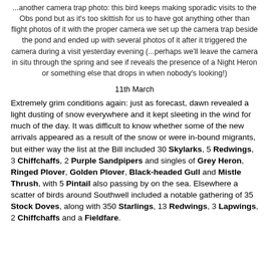...another camera trap photo: this bird keeps making sporadic visits to the Obs pond but as it's too skittish for us to have got anything other than flight photos of it with the proper camera we set up the camera trap beside the pond and ended up with several photos of it after it triggered the camera during a visit yesterday evening (...perhaps we'll leave the camera in situ through the spring and see if reveals the presence of a Night Heron or something else that drops in when nobody's looking!)
11th March
Extremely grim conditions again: just as forecast, dawn revealed a light dusting of snow everywhere and it kept sleeting in the wind for much of the day. It was difficult to know whether some of the new arrivals appeared as a result of the snow or were in-bound migrants, but either way the list at the Bill included 30 Skylarks, 5 Redwings, 3 Chiffchaffs, 2 Purple Sandpipers and singles of Grey Heron, Ringed Plover, Golden Plover, Black-headed Gull and Mistle Thrush, with 5 Pintail also passing by on the sea. Elsewhere a scatter of birds around Southwell included a notable gathering of 35 Stock Doves, along with 350 Starlings, 13 Redwings, 3 Lapwings, 2 Chiffchaffs and a Fieldfare.